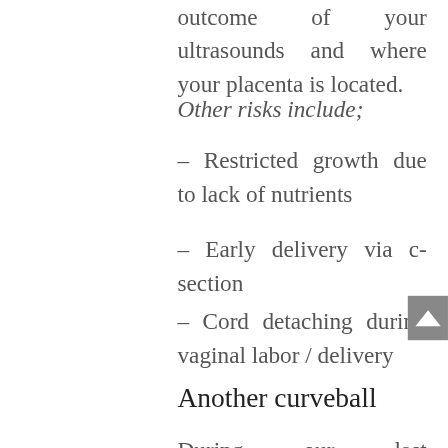outcome of your ultrasounds and where your placenta is located.
Other risks include;
– Restricted growth due to lack of nutrients
– Early delivery via c-section
– Cord detaching during vaginal labor / delivery
Another curveball
During our last ultrasound, Baby A was breech, which makes the